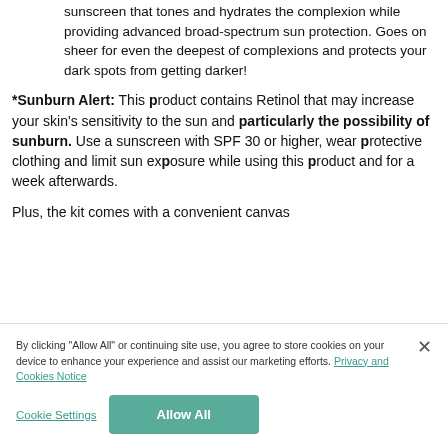sunscreen that tones and hydrates the complexion while providing advanced broad-spectrum sun protection. Goes on sheer for even the deepest of complexions and protects your dark spots from getting darker!
*Sunburn Alert: This product contains Retinol that may increase your skin's sensitivity to the sun and particularly the possibility of sunburn. Use a sunscreen with SPF 30 or higher, wear protective clothing and limit sun exposure while using this product and for a week afterwards.
Plus, the kit comes with a convenient canvas
By clicking "Allow All" or continuing site use, you agree to store cookies on your device to enhance your experience and assist our marketing efforts. Privacy and Cookies Notice